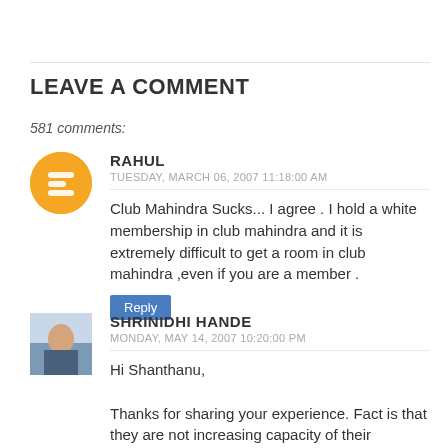LEAVE A COMMENT
581 comments:
RAHUL
TUESDAY, MARCH 06, 2007 11:18:00 AM
Club Mahindra Sucks... I agree . I hold a white membership in club mahindra and it is extremely difficult to get a room in club mahindra ,even if you are a member .
SHRINIDHI HANDE
MONDAY, MAY 14, 2007 10:20:00 PM
Hi Shanthanu,

Thanks for sharing your experience. Fact is that they are not increasing capacity of their resources but